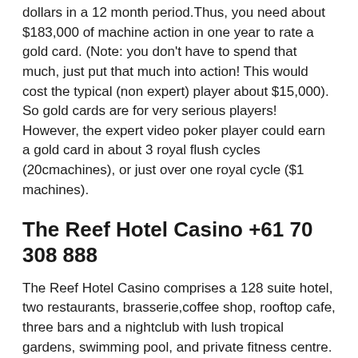dollars in a 12 month period.Thus, you need about $183,000 of machine action in one year to rate a gold card. (Note: you don't have to spend that much, just put that much into action! This would cost the typical (non expert) player about $15,000).  So gold cards are for very serious players! However, the expert video poker player could earn a gold card in about 3 royal flush cycles (20cmachines), or just over one royal cycle ($1 machines).
The Reef Hotel Casino +61 70 308 888
The Reef Hotel Casino comprises a 128 suite hotel, two restaurants, brasserie,coffee shop, rooftop cafe, three bars and a nightclub with lush tropical gardens, swimming pool, and private fitness centre. It attracts some 4000visitors per day. The casino is of moderate size, with 540 gaming machines and 50 gaming tables.
The Reef casino is in financial trouble. As of late April